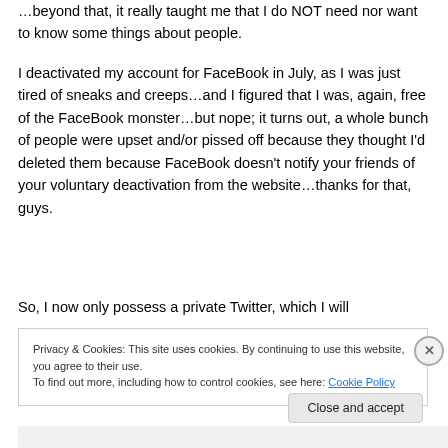Beyond that, it really taught me that I do NOT need nor want to know some things about people.
I deactivated my account for FaceBook in July, as I was just tired of sneaks and creeps…and I figured that I was, again, free of the FaceBook monster…but nope; it turns out, a whole bunch of people were upset and/or pissed off because they thought I'd deleted them because FaceBook doesn't notify your friends of your voluntary deactivation from the website…thanks for that, guys.
So, I now only possess a private Twitter, which I will
Privacy & Cookies: This site uses cookies. By continuing to use this website, you agree to their use.
To find out more, including how to control cookies, see here: Cookie Policy
Close and accept